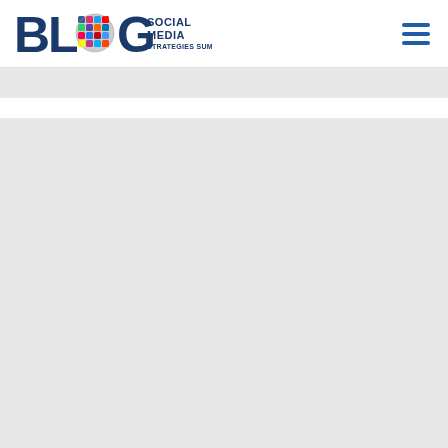[Figure (logo): Blog Social Media Strategies Summit logo with globe icon made of social media app icons, bold blue BLOG text with the O replaced by a globe, and SOCIAL MEDIA STRATEGIES SUMMIT text]
[Figure (other): Hamburger menu icon with three horizontal blue lines]
[Figure (other): Light gray content area below header, mostly empty]